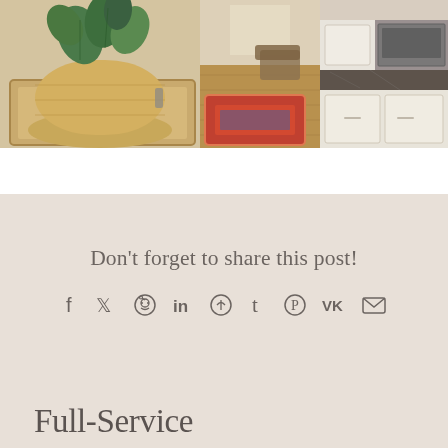[Figure (photo): Three interior home photos side by side: left shows a potted plant in a woven basket on a tray, middle shows a living room with hardwood floor and rug, right shows a kitchen counter with granite top.]
Don't forget to share this post!
[Figure (infographic): Row of social media sharing icons: Facebook, Twitter, Reddit, LinkedIn, WhatsApp, Tumblr, Pinterest, VK, Email]
Full-Service